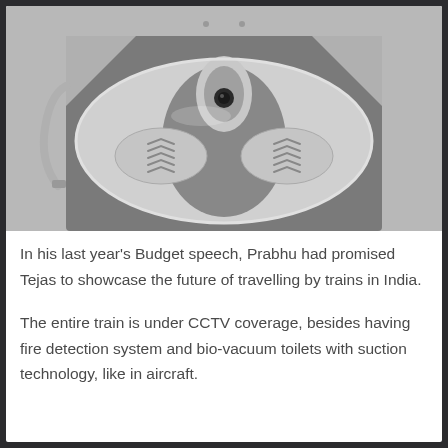[Figure (photo): Overhead view of a stainless steel bio-vacuum toilet with two oval footrests and a central flush mechanism, similar to aircraft-style toilets.]
In his last year's Budget speech, Prabhu had promised Tejas to showcase the future of travelling by trains in India.
The entire train is under CCTV coverage, besides having fire detection system and bio-vacuum toilets with suction technology, like in aircraft.